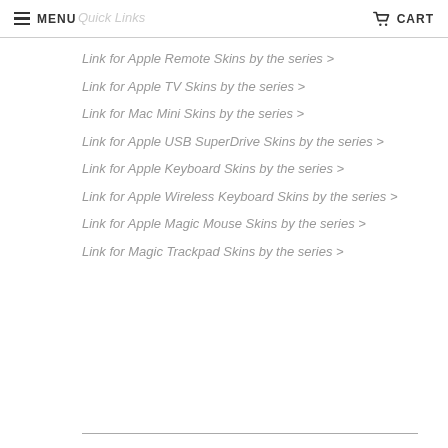MENU | CART
Quick Links
Link for Apple Remote Skins by the series >
Link for Apple TV Skins by the series >
Link for Mac Mini Skins by the series >
Link for Apple USB SuperDrive Skins by the series >
Link for Apple Keyboard Skins by the series >
Link for Apple Wireless Keyboard Skins by the series >
Link for Apple Magic Mouse Skins by the series >
Link for Magic Trackpad Skins by the series >